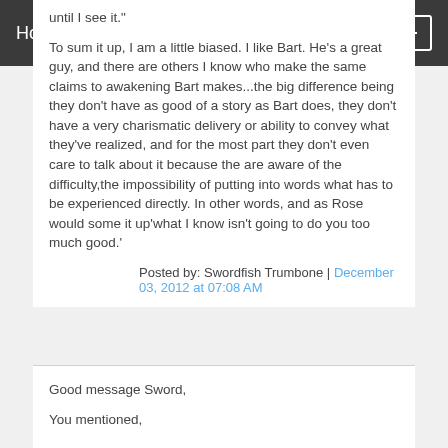Home
until I see it."
To sum it up, I am a little biased. I like Bart. He's a great guy, and there are others I know who make the same claims to awakening Bart makes...the big difference being they don't have as good of a story as Bart does, they don't have a very charismatic delivery or ability to convey what they've realized, and for the most part they don't even care to talk about it because the are aware of the difficulty,the impossibility of putting into words what has to be experienced directly. In other words, and as Rose would some it up'what I know isn't going to do you too much good.'
Posted by: Swordfish Trumbone | December 03, 2012 at 07:08 AM
Good message Sword,
You mentioned,